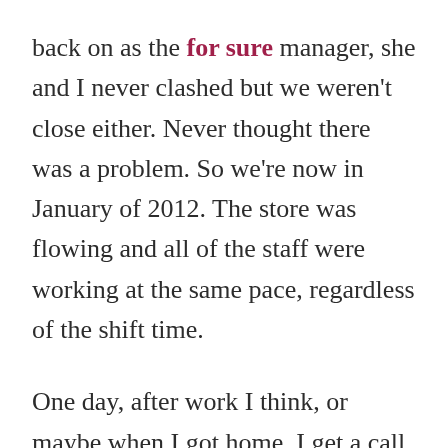back on as the for sure manager, she and I never clashed but we weren't close either. Never thought there was a problem. So we're now in January of 2012. The store was flowing and all of the staff were working at the same pace, regardless of the shift time.

One day, after work I think, or maybe when I got home, I get a call saying that the manager needs to meet with me, the district manager and another employee about something.